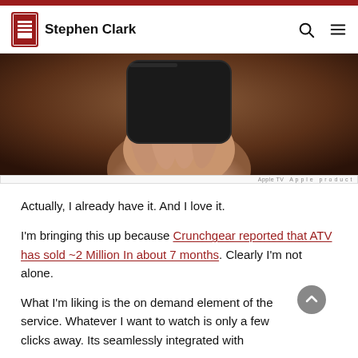Stephen Clark
[Figure (photo): A hand holding a dark Apple TV device against a brown background]
Apple TV Apple product
Actually, I already have it. And I love it.
I'm bringing this up because Crunchgear reported that ATV has sold ~2 Million In about 7 months. Clearly I'm not alone.
What I'm liking is the on demand element of the service. Whatever I want to watch is only a few clicks away. Its seamlessly integrated with